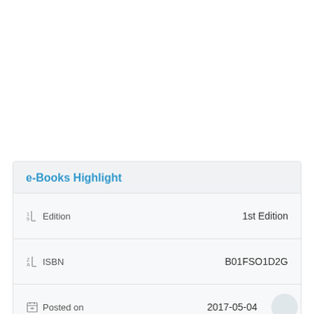e-Books Highlight
| Field | Value |
| --- | --- |
| Edition | 1st Edition |
| ISBN | B01FSO1D2G |
| Posted on | 2017-05-04 |
| Format | Pdf |